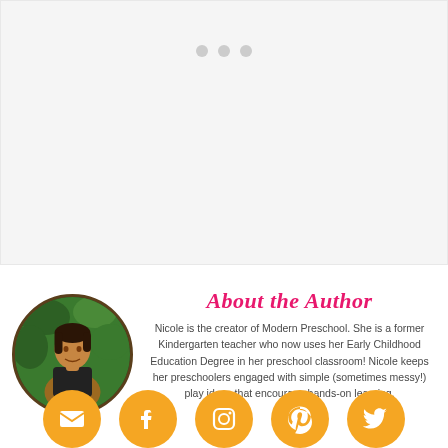[Figure (other): Light gray placeholder area with three gray dots indicating loading or slideshow]
About the Author
Nicole is the creator of Modern Preschool. She is a former Kindergarten teacher who now uses her Early Childhood Education Degree in her preschool classroom! Nicole keeps her preschoolers engaged with simple (sometimes messy!) play ideas that encourage hands-on learning.
[Figure (other): Row of five orange circular social media icons: email, Facebook, Instagram, Pinterest, Twitter]